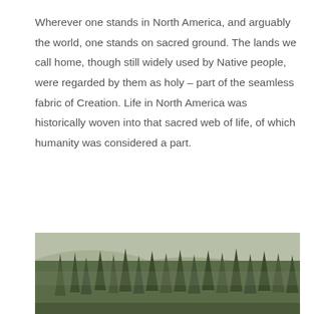Wherever one stands in North America, and arguably the world, one stands on sacred ground. The lands we call home, though still widely used by Native people, were regarded by them as holy – part of the seamless fabric of Creation. Life in North America was historically woven into that sacred web of life, of which humanity was considered a part.
[Figure (photo): A photograph of a dense forest with tall coniferous trees on a hillside, misty mountain background visible, muted green and brown tones.]